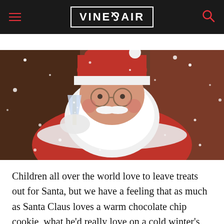VINEPAIR
[Figure (photo): Santa Claus wearing red suit and white beard, holding a champagne flute, surrounded by snow flurries]
Children all over the world love to leave treats out for Santa, but we have a feeling that as much as Santa Claus loves a warm chocolate chip cookie, what he'd really love on a cold winter's night is a